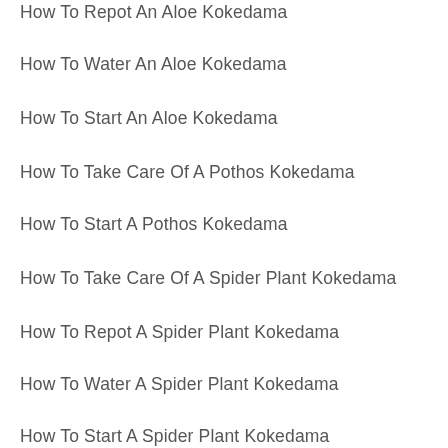How To Repot An Aloe Kokedama
How To Water An Aloe Kokedama
How To Start An Aloe Kokedama
How To Take Care Of A Pothos Kokedama
How To Start A Pothos Kokedama
How To Take Care Of A Spider Plant Kokedama
How To Repot A Spider Plant Kokedama
How To Water A Spider Plant Kokedama
How To Start A Spider Plant Kokedama